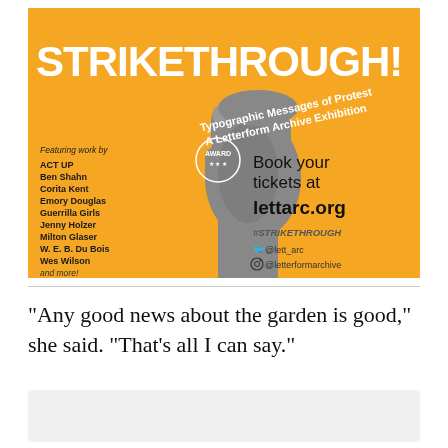[Figure (illustration): Promotional poster for 'STRIKETHROUGH! Typographic Messages of Protest — A Letterform Archive Exhibition'. Orange background with a black-and-white raised fist image. Left side lists featured artists: ACT UP, Ben Shahn, Corita Kent, Emory Douglas, Guerrilla Girls, Jenny Holzer, Milton Glaser, W. E. B. Du Bois, Wes Wilson, and more. Right side: 'Book your tickets at lettarc.org', #STRIKETHROUGH, @lett_arc (Twitter), @letterformarchive (Instagram).]
“Any good news about the garden is good,” she said. “That’s all I can say.”